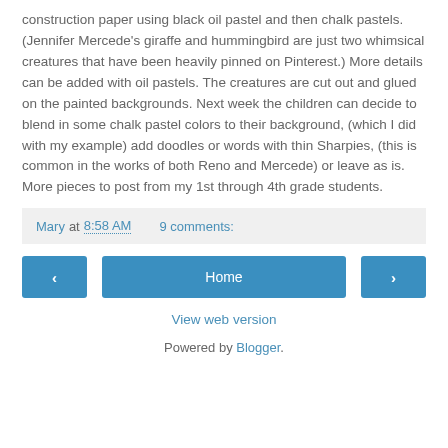construction paper using black oil pastel and then chalk pastels. (Jennifer Mercede's giraffe and hummingbird are just two whimsical creatures that have been heavily pinned on Pinterest.) More details can be added with oil pastels. The creatures are cut out and glued on the painted backgrounds. Next week the children can decide to blend in some chalk pastel colors to their background, (which I did with my example) add doodles or words with thin Sharpies, (this is common in the works of both Reno and Mercede) or leave as is. More pieces to post from my 1st through 4th grade students.
Mary at 8:58 AM    9 comments:
‹    Home    ›
View web version
Powered by Blogger.